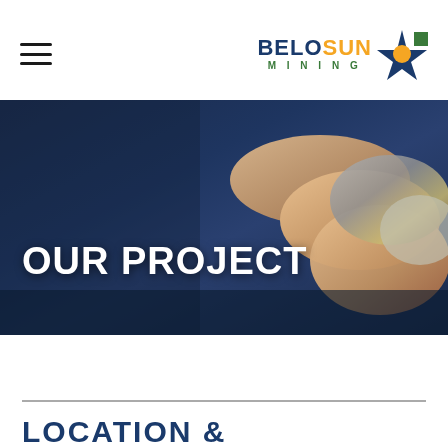BELOSUN MINING
[Figure (photo): Close-up photo of fingers holding a mineral rock sample against a dark navy blue background, with the text OUR PROJECT overlaid in bold white capital letters]
OUR PROJECT
LOCATION &